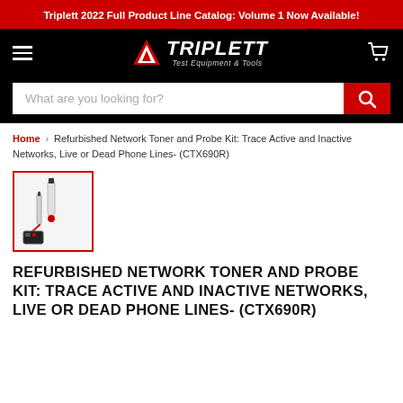Triplett 2022 Full Product Line Catalog: Volume 1 Now Available!
[Figure (logo): Triplett Test Equipment & Tools logo with red triangle icon on black background]
What are you looking for?
Home > Refurbished Network Toner and Probe Kit: Trace Active and Inactive Networks, Live or Dead Phone Lines- (CTX690R)
[Figure (photo): Product thumbnail image of Refurbished Network Toner and Probe Kit CTX690R with red border]
REFURBISHED NETWORK TONER AND PROBE KIT: TRACE ACTIVE AND INACTIVE NETWORKS, LIVE OR DEAD PHONE LINES- (CTX690R)